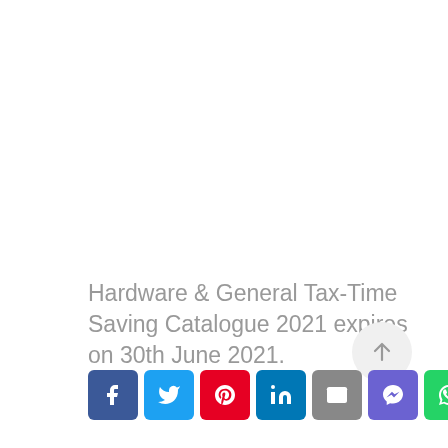Hardware & General Tax-Time Saving Catalogue 2021 expires on 30th June 2021.
[Figure (other): Social sharing buttons: Facebook, Twitter, Pinterest, LinkedIn, Email, Messenger, WhatsApp]